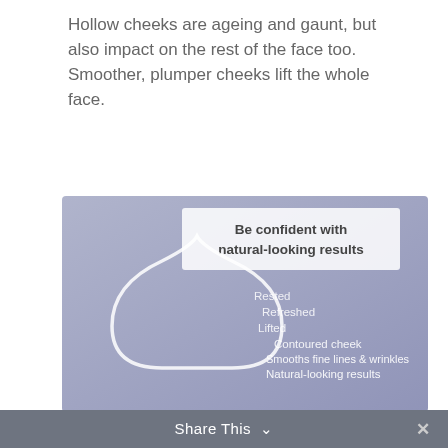Hollow cheeks are ageing and gaunt, but also impact on the rest of the face too. Smoother, plumper cheeks lift the whole face.
[Figure (infographic): A lavender/purple gradient background infographic featuring a large teardrop/water-drop shape outline in white on the left. Inside and to the right of the drop are stacked white text labels: Rested, Refreshed, Lifted, Contoured cheek, Smooths fine lines & wrinkles, Natural-looking results. At the top is a white-bordered box with bold text: 'Be confident with natural-looking results'.]
Share This ∨  ✕